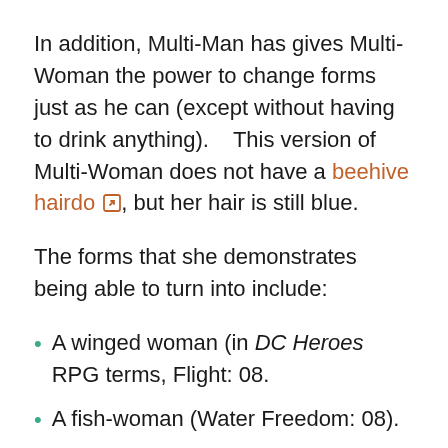In addition, Multi-Man has gives Multi-Woman the power to change forms just as he can (except without having to drink anything).    This version of Multi-Woman does not have a beehive hairdo [external link], but her hair is still blue.
The forms that she demonstrates being able to turn into include:
A winged woman (in DC Heroes RPG terms, Flight: 08.
A fish-woman (Water Freedom: 08).
A burrowing tentacled thing (Digging: 06,